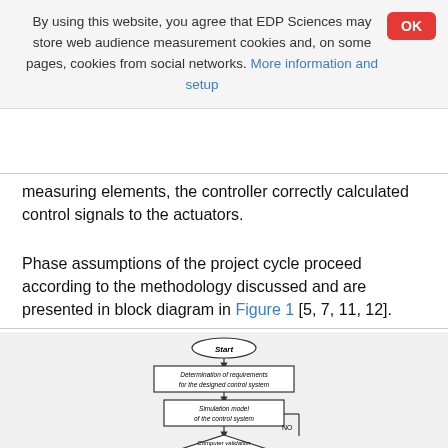By using this website, you agree that EDP Sciences may store web audience measurement cookies and, on some pages, cookies from social networks. More information and setup
measuring elements, the controller correctly calculated control signals to the actuators.
Phase assumptions of the project cycle proceed according to the methodology discussed and are presented in block diagram in Figure 1 [5, 7, 11, 12].
[Figure (flowchart): Flowchart showing phases of project cycle. Starts with 'Start' oval, then 'Determination of requirements for the designed control system' rectangle, then 'Simulation model of the control system' rectangle with 'NO' feedback arrow, then 'Computer validation off-line simulation' diamond.]